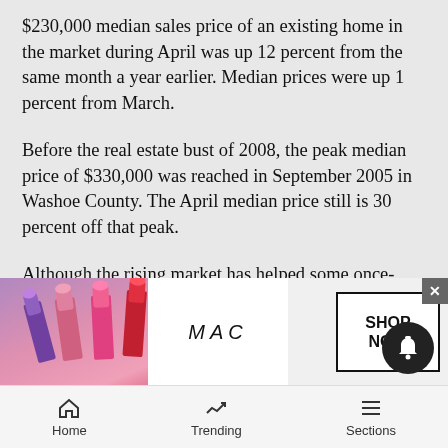$230,000 median sales price of an existing home in the market during April was up 12 percent from the same month a year earlier. Median prices were up 1 percent from March.
Before the real estate bust of 2008, the peak median price of $330,000 was reached in September 2005 in Washoe County. The April median price still is 30 percent off that peak.
Although the rising market has helped some once-underwater homeowners get their noses above water, distressed transactions still weigh on the Reno-Sparks market.
Short sales accounted for 0.4 percent of the transa... each comp... year
[Figure (photo): MAC cosmetics advertisement banner showing lipsticks and a SHOP NOW button]
Home  Trending  Sections